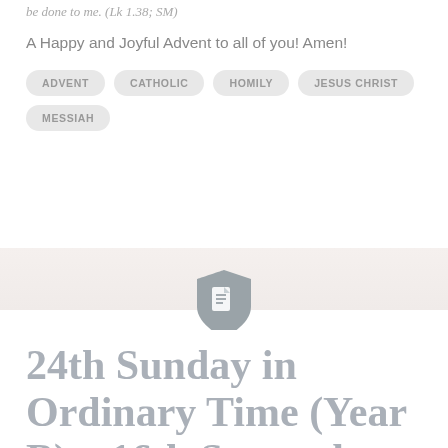be done to me. (Lk 1.38; SM)
A Happy and Joyful Advent to all of you! Amen!
ADVENT
CATHOLIC
HOMILY
JESUS CHRIST
MESSIAH
[Figure (logo): Document logo icon — a shield shape with a document/file icon inside, in grey tones]
24th Sunday in Ordinary Time (Year B) – 16th September 2018